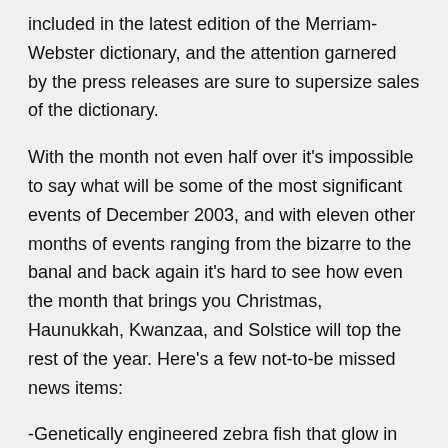included in the latest edition of the Merriam-Webster dictionary, and the attention garnered by the press releases are sure to supersize sales of the dictionary.
With the month not even half over it's impossible to say what will be some of the most significant events of December 2003, and with eleven other months of events ranging from the bizarre to the banal and back again it's hard to see how even the month that brings you Christmas, Haunukkah, Kwanzaa, and Solstice will top the rest of the year. Here's a few not-to-be missed news items:
-Genetically engineered zebra fish that glow in the dark are guaranteed to be a big holiday stocking-stuffer, despite attempts to ban them as a potentially dangerous genetically modified organism.
-The city of Seattle, Washington decided that cab drivers could legally dress like Elvis. The decision was made on behalf of cab driver Dave Groh who was fined $60 by cab inspectors who chided Groh for failing to adhere to a city dress code for cab drivers. Although most of Mr. Groh's passengers seemed to enjoy the costume as long as the